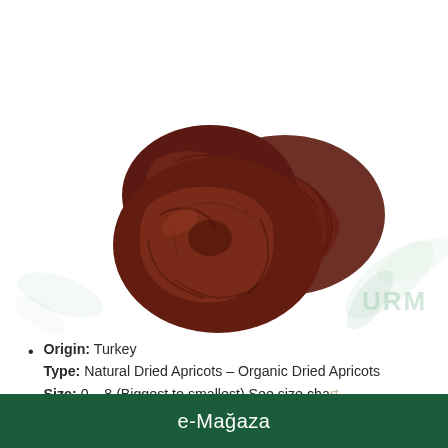[Figure (photo): Three dark reddish-brown dried apricots arranged together, showing wrinkled texture, on a white background with decorative botanical watermark elements (leaves, fruit) in light green and orange tones. Partial text 'URM' visible on right side.]
Origin: Turkey
Type: Natural Dried Apricots – Organic Dried Apricots
Size: 0 – 8 (Biggest to smallest) See size cha...
e-Mağaza